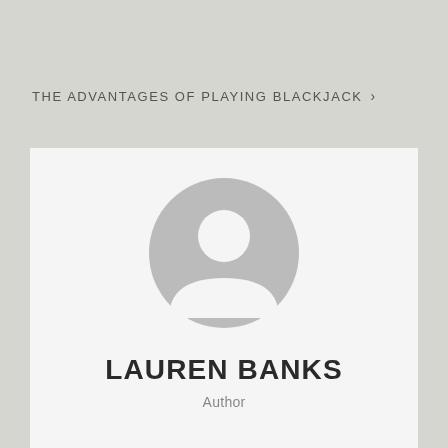THE ADVANTAGES OF PLAYING BLACKJACK >
[Figure (illustration): Default user avatar placeholder: a gray circle containing a white silhouette of a person (head circle and shoulders/torso arc)]
LAUREN BANKS
Author